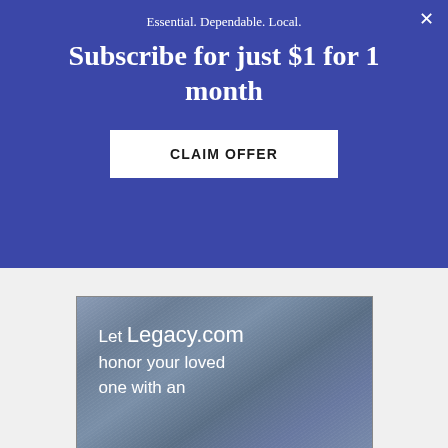Essential. Dependable. Local.
Subscribe for just $1 for 1 month
CLAIM OFFER
[Figure (illustration): Advertisement image with dark blue-grey textured slate background with white text reading: Let Legacy.com honor your loved one with an]